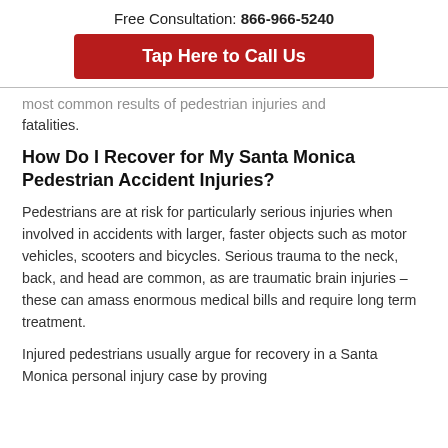Free Consultation: 866-966-5240
Tap Here to Call Us
most common results of pedestrian injuries and fatalities.
How Do I Recover for My Santa Monica Pedestrian Accident Injuries?
Pedestrians are at risk for particularly serious injuries when involved in accidents with larger, faster objects such as motor vehicles, scooters and bicycles. Serious trauma to the neck, back, and head are common, as are traumatic brain injuries – these can amass enormous medical bills and require long term treatment.
Injured pedestrians usually argue for recovery in a Santa Monica personal injury case by proving